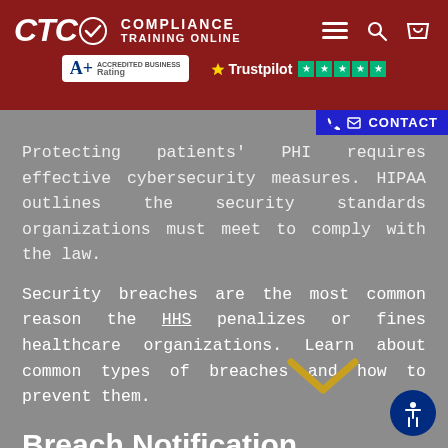[Figure (logo): CTC Compliance Training Online logo with BBB A+ Rating and Trustpilot 5-star badges on dark red header background with navigation icons]
Protecting patients' PHI requires effective cybersecurity measures. HIPAA outlines the security standards organizations must meet to comply with the law.
Security breaches are the most common reason the HHS penalizes or fines healthcare organizations. Learn about common types of breaches and how to prevent them.
Breach Notification
HIPAA's Breach Notification Rule is the third of